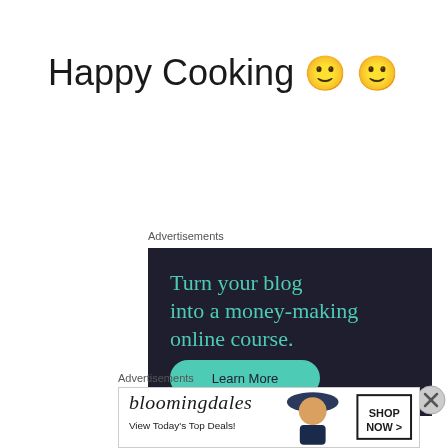Happy Cooking 🙂 🙂
Advertisements
[Figure (other): Dark navy advertisement banner for Sensei platform reading 'Turn your blog into a money-making online course.' with a teal 'Learn More' button and Sensei logo]
Advertisements
[Figure (other): Bloomingdale's advertisement banner with logo, 'View Today's Top Deals!' text, woman with hat image, and 'SHOP NOW >' button]